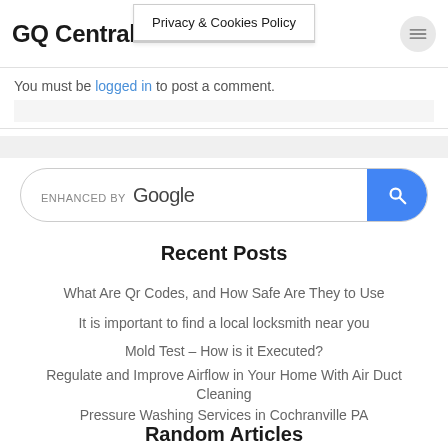GQ Central
Privacy & Cookies Policy
You must be logged in to post a comment.
[Figure (other): Enhanced by Google search box with blue search button]
Recent Posts
What Are Qr Codes, and How Safe Are They to Use
It is important to find a local locksmith near you
Mold Test – How is it Executed?
Regulate and Improve Airflow in Your Home With Air Duct Cleaning
Pressure Washing Services in Cochranville PA
Random Articles